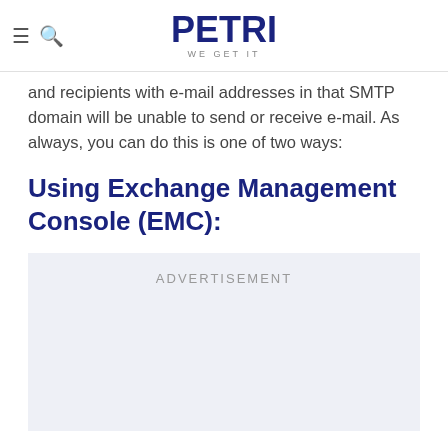PETRI WE GET IT
and recipients with e-mail addresses in that SMTP domain will be unable to send or receive e-mail. As always, you can do this is one of two ways:
Using Exchange Management Console (EMC):
[Figure (other): Advertisement placeholder box with light grey-blue background and ADVERTISEMENT label]